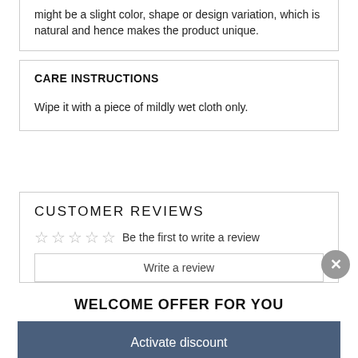might be a slight color, shape or design variation, which is natural and hence makes the product unique.
CARE INSTRUCTIONS
Wipe it with a piece of mildly wet cloth only.
CUSTOMER REVIEWS
Be the first to write a review
Write a review
WELCOME OFFER FOR YOU
Activate discount